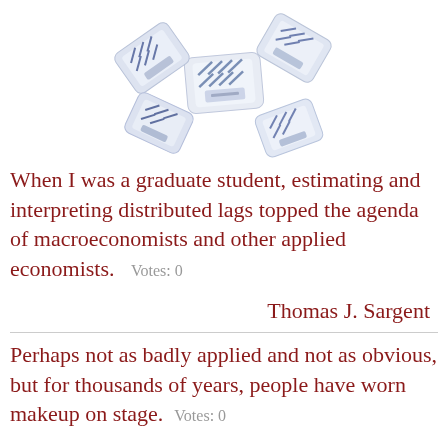[Figure (photo): Photo of several packaged makeup/cosmetic wipe packets with blue and white geometric pattern design, scattered/arranged in a star-like layout against a white background.]
When I was a graduate student, estimating and interpreting distributed lags topped the agenda of macroeconomists and other applied economists.   Votes: 0
Thomas J. Sargent
Perhaps not as badly applied and not as obvious, but for thousands of years, people have worn makeup on stage.   Votes: 0
Robert Smith
Paint should not be applied thick. It should be like a breath on the surface of a pane of glass.